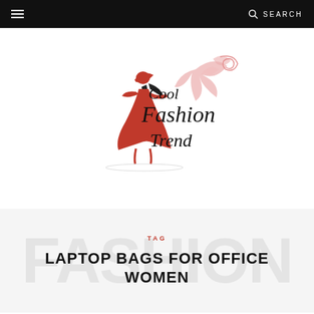☰  SEARCH
[Figure (logo): Cool Fashion Trend logo — stylized woman in red dress with red hat, cursive text reading 'Cool Fashion Trend' with pink floral flourish]
TAG
LAPTOP BAGS FOR OFFICE WOMEN